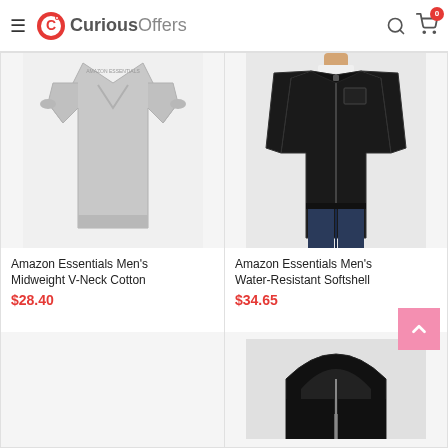CuriousOffers
[Figure (photo): Gray men's V-neck cotton sweater on white background]
Amazon Essentials Men's Midweight V-Neck Cotton
$28.40
[Figure (photo): Man wearing black water-resistant softshell jacket]
Amazon Essentials Men's Water-Resistant Softshell
$34.65
[Figure (photo): Empty white product card area (no image loaded)]
[Figure (photo): Black and gray hooded jacket partially visible]